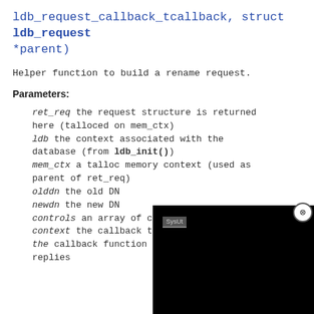ldb_request_callback_tcallback, struct ldb_request *parent)
Helper function to build a rename request.
Parameters:
ret_req the request structure is returned here (talloced on mem_ctx)
ldb the context associated with the database (from ldb_init())
mem_ctx a talloc memory context (used as parent of ret_req)
olddn the old DN
newdn the new DN
controls an array of c
context the callback t
the callback function
replies
[Figure (screenshot): Black overlay panel with SysUt label and close button (X)]